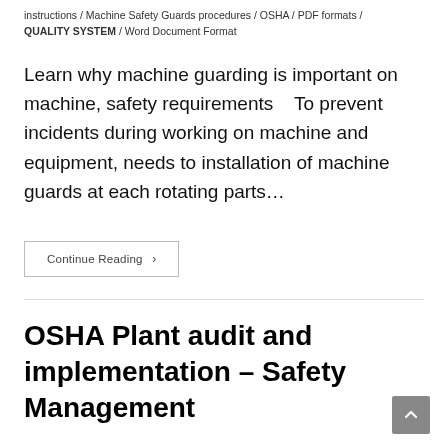instructions / Machine Safety Guards procedures / OSHA / PDF formats / QUALITY SYSTEM / Word Document Format
Learn why machine guarding is important on machine, safety requirements    To prevent incidents during working on machine and equipment, needs to installation of machine guards at each rotating parts…
Continue Reading ›
OSHA Plant audit and implementation – Safety Management